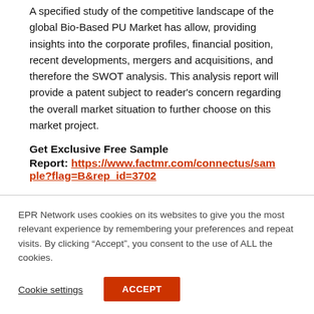A specified study of the competitive landscape of the global Bio-Based PU Market has allow, providing insights into the corporate profiles, financial position, recent developments, mergers and acquisitions, and therefore the SWOT analysis. This analysis report will provide a patent subject to reader's concern regarding the overall market situation to further choose on this market project.
Get Exclusive Free Sample Report: https://www.factmr.com/connectus/sample?flag=B&rep_id=3702
EPR Network uses cookies on its websites to give you the most relevant experience by remembering your preferences and repeat visits. By clicking “Accept”, you consent to the use of ALL the cookies.
Cookie settings
ACCEPT